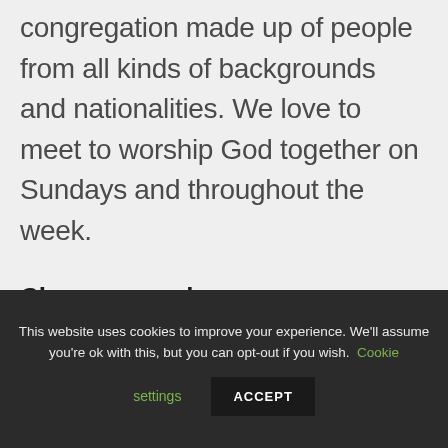congregation made up of people from all kinds of backgrounds and nationalities. We love to meet to worship God together on Sundays and throughout the week.
Choose your language
[Figure (other): Dropdown selector showing UK flag and 'English' with a dropdown arrow]
This website uses cookies to improve your experience. We'll assume you're ok with this, but you can opt-out if you wish. Cookie settings ACCEPT